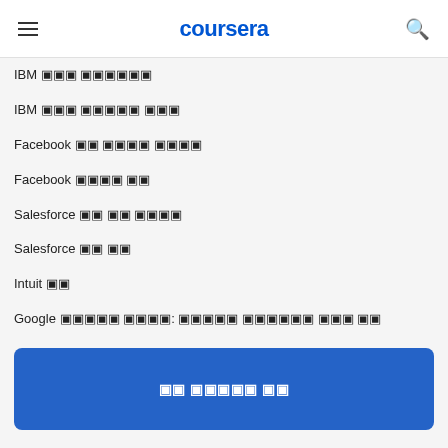coursera
IBM 전문 자격증
IBM 전문 개발자 자격증
Facebook AR 개발자 전문가
Facebook 마케팅 분석
Salesforce 영업 운영 전문가
Salesforce 개발 전문
Intuit 소기업
Google 데이터 분석: 데이터 분석가를 위한 기초
Google 데이터 분석: 고급자를 위한 데이터 분석가 기초 과정
데이터 과학
머신러닝 기반 과정
모두 보려면 로그인